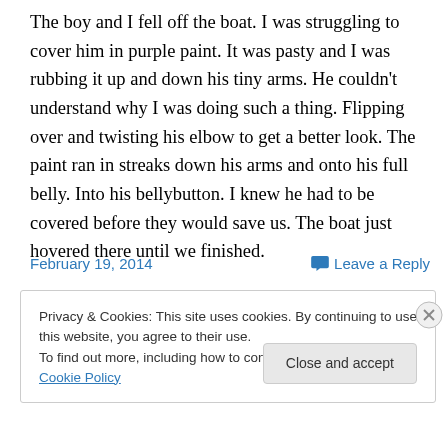The boy and I fell off the boat. I was struggling to cover him in purple paint. It was pasty and I was rubbing it up and down his tiny arms. He couldn't understand why I was doing such a thing. Flipping over and twisting his elbow to get a better look. The paint ran in streaks down his arms and onto his full belly. Into his bellybutton. I knew he had to be covered before they would save us. The boat just hovered there until we finished.
February 19, 2014
Leave a Reply
Privacy & Cookies: This site uses cookies. By continuing to use this website, you agree to their use.
To find out more, including how to control cookies, see here: Cookie Policy
Close and accept